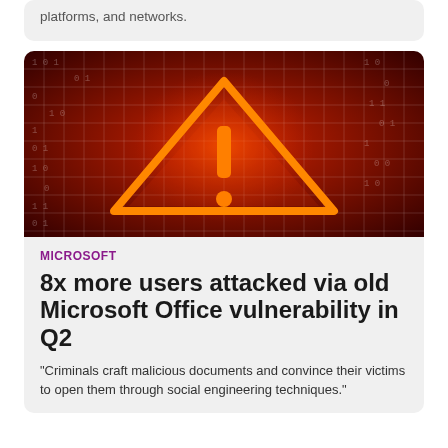platforms, and networks.
[Figure (photo): Cybersecurity warning image: glowing orange neon triangle warning sign with exclamation mark against a dark red digital grid background with binary numbers]
MICROSOFT
8x more users attacked via old Microsoft Office vulnerability in Q2
"Criminals craft malicious documents and convince their victims to open them through social engineering techniques."